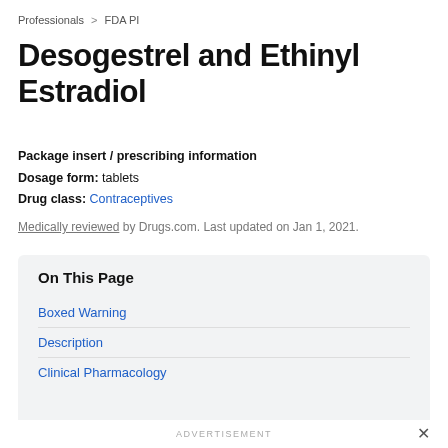Professionals > FDA PI
Desogestrel and Ethinyl Estradiol
Package insert / prescribing information
Dosage form: tablets
Drug class: Contraceptives
Medically reviewed by Drugs.com. Last updated on Jan 1, 2021.
On This Page
Boxed Warning
Description
Clinical Pharmacology